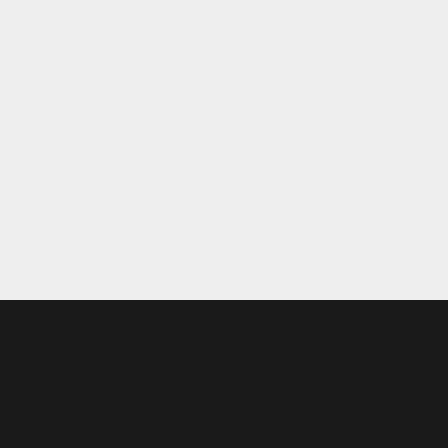[Figure (other): Light grey empty background area filling the top portion of the page]
Gamereactor France. Watch the latest video game trailers, and interviews from the biggest gaming conventions in the world. Gamereactor utilise des cookies. En fait, notre site ne fonctionne pas sans eux. Nous ne recueillons pas de données personnelles et vous pouvez lire plus ici.
OK
[Figure (other): Circular chevron/down-arrow button]